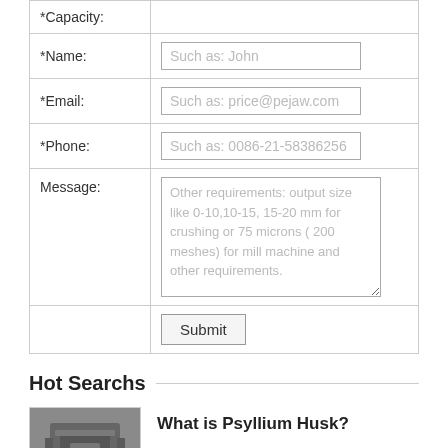| Field | Input |
| --- | --- |
| *Capacity: |  |
| *Name: | Such as: John |
| *Email: | Such as: price@pejaw.com |
| *Phone: | Such as: 0086-21-58386256 |
| Message: | Other requirements: output size like 0-10,10-15, 15-20 mm for crushing or 75 microns ( 200 meshes) for mill machine and other requirements. |
|  | Submit |
Hot Searchs
[Figure (photo): Thumbnail photo of industrial milling/grinding machine equipment]
What is Psyllium Husk?
Benefits, Side Effects &
Substitutions